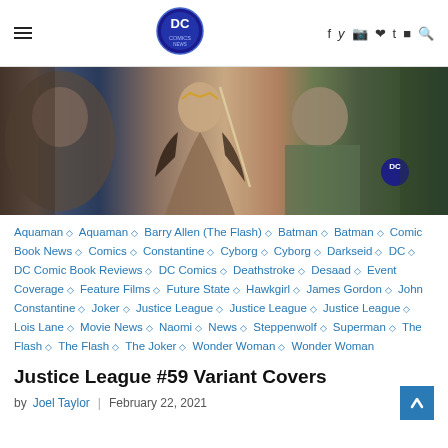DC Comics News header with logo, social icons, and hamburger menu
[Figure (photo): Justice League #59 variant cover art showing Wonder Woman with sword, Aquaman, and other DC characters]
Aquaman ◇ Aquaman ◇ Barry Allen (The Flash) ◇ Batman ◇ Batman ◇ Comic Book News ◇ Comics ◇ Constantine ◇ Cyborg ◇ Cyborg ◇ Darkseid ◇ DC ◇ DC Comic Book Reviews ◇ DC Comics ◇ Deathstroke ◇ Desaad ◇ Event Coverage ◇ Feature Films ◇ Future State ◇ Hawkgirl ◇ James Gordon ◇ John Constantine ◇ Joker ◇ Justice League ◇ Justice League ◇ Justice League ◇ Lois Lane ◇ Movie News ◇ Naomi ◇ News ◇ Steppenwolf ◇ Superman ◇ The Flash ◇ The Flash ◇ The Joker ◇ Wonder Woman ◇ Wonder Woman
Justice League #59 Variant Covers
by Joel Taylor | February 22, 2021